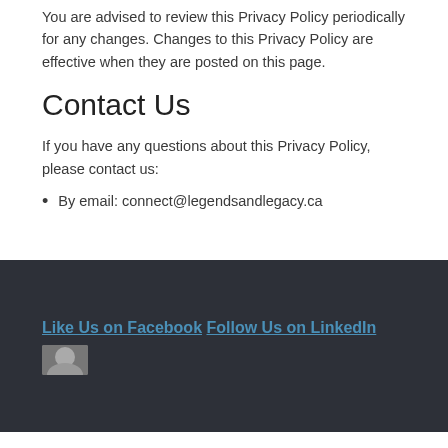You are advised to review this Privacy Policy periodically for any changes. Changes to this Privacy Policy are effective when they are posted on this page.
Contact Us
If you have any questions about this Privacy Policy, please contact us:
By email: connect@legendsandlegacy.ca
Like Us on Facebook
Follow Us on LinkedIn
[Figure (photo): Small thumbnail photo of a person, partially visible at bottom of page]